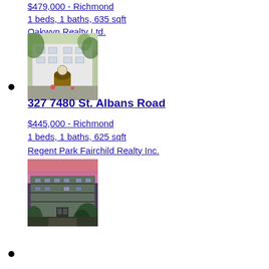$479,000 - Richmond
1 beds, 1 baths, 635 sqft
Oakwyn Realty Ltd.
[Figure (photo): Exterior photo of a white multi-unit residential building with green foliage and ornate entrance]
327 7480 St. Albans Road
$445,000 - Richmond
1 beds, 1 baths, 625 sqft
Regent Park Fairchild Realty Inc.
[Figure (photo): Exterior photo of a multi-unit residential building at dusk with purple/pink sky and green trees]